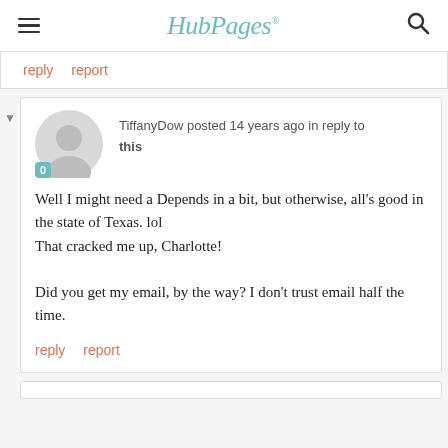HubPages
reply   report
TiffanyDow posted 14 years ago in reply to this

Well I might need a Depends in a bit, but otherwise, all's good in the state of Texas. lol
That cracked me up, Charlotte!

Did you get my email, by the way? I don't trust email half the time.

reply   report